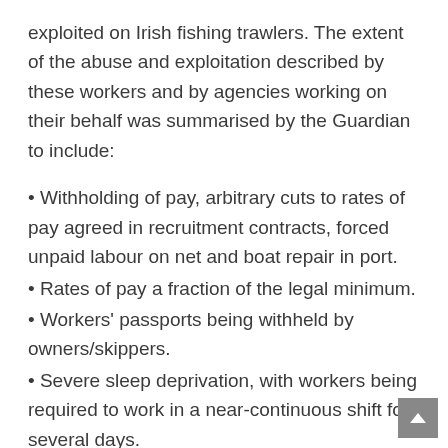exploited on Irish fishing trawlers. The extent of the abuse and exploitation described by these workers and by agencies working on their behalf was summarised by the Guardian to include:
Withholding of pay, arbitrary cuts to rates of pay agreed in recruitment contracts, forced unpaid labour on net and boat repair in port.
Rates of pay a fraction of the legal minimum.
Workers' passports being withheld by owners/skippers.
Severe sleep deprivation, with workers being required to work in a near-continuous shift for several days.
Reports of occasional physical abuse such as